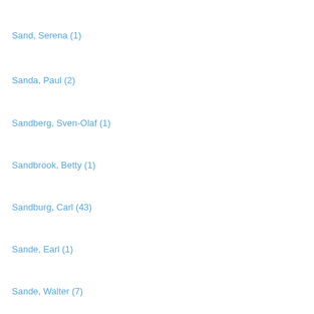Sand, Serena (1)
Sanda, Paul (2)
Sandberg, Sven-Olaf (1)
Sandbrook, Betty (1)
Sandburg, Carl (43)
Sande, Earl (1)
Sande, Walter (7)